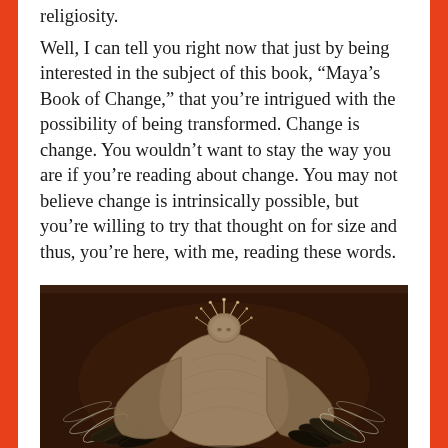religiosity.
Well, I can tell you right now that just by being interested in the subject of this book, “Maya’s Book of Change,” that you’re intrigued with the possibility of being transformed. Change is change. You wouldn’t want to stay the way you are if you’re reading about change. You may not believe change is intrinsically possible, but you’re willing to try that thought on for size and thus, you’re here, with me, reading these words.
[Figure (photo): A sculptural figure resembling a winged creature or angel made from natural materials including feathers, rough stone or clay body, and spiky protrusions on the head, photographed against a dark brown background.]